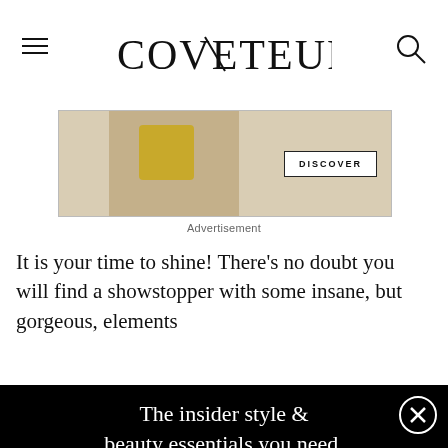COVETEUR
[Figure (photo): Advertisement banner showing a fashion product with a DISCOVER button]
Advertisement
It is your time to shine! There’s no doubt you will find a showstopper with some insane, but gorgeous, elements
[Figure (screenshot): Email newsletter signup modal overlay with black background. Heading: 'The insider style & beauty essentials you need. Direct to your inbox, every day.' Email input field placeholder 'EMAIL@EXAMPLE.COM' and a SIGN UP button.]